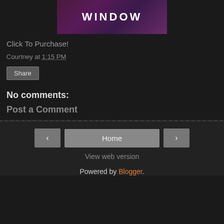[Figure (illustration): Book cover image showing the word WINDOW in white letters on a dark purple/maroon background]
Click To Purchase!
Courtney at 1:15 PM
Share
No comments:
Post a Comment
Home
View web version
Powered by Blogger.